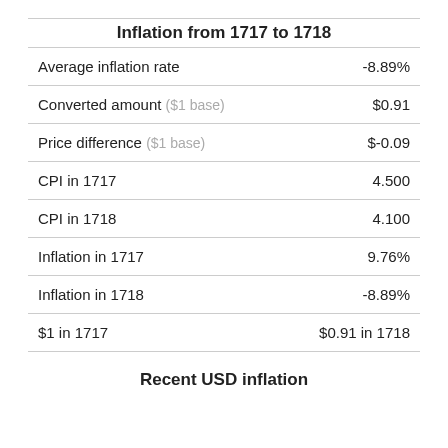Inflation from 1717 to 1718
|  |  |
| --- | --- |
| Average inflation rate | -8.89% |
| Converted amount ($1 base) | $0.91 |
| Price difference ($1 base) | $-0.09 |
| CPI in 1717 | 4.500 |
| CPI in 1718 | 4.100 |
| Inflation in 1717 | 9.76% |
| Inflation in 1718 | -8.89% |
| $1 in 1717 | $0.91 in 1718 |
Recent USD inflation